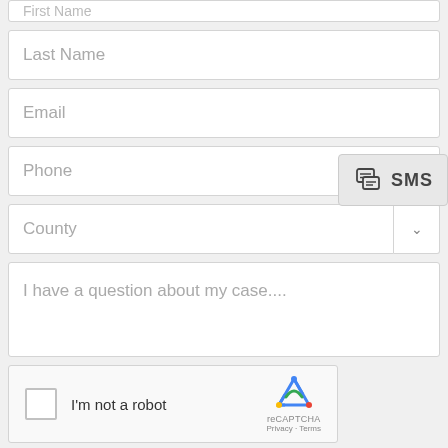First Name (partial, cropped)
Last Name
Email
Phone
SMS
County
I have a question about my case....
I'm not a robot
reCAPTCHA
Privacy · Terms
GET MY FREE CASE ANALYSIS!